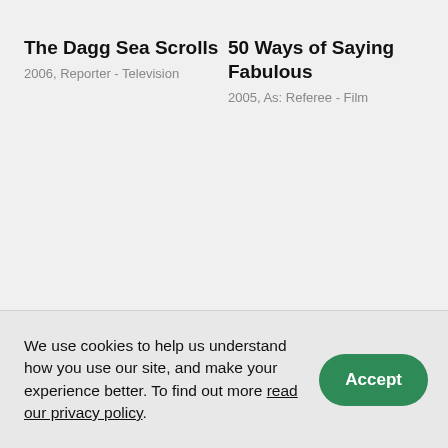The Dagg Sea Scrolls
2006, Reporter - Television
50 Ways of Saying Fabulous
2005, As: Referee - Film
Revolution - 2, The Grand
Revolution - 4, The New
We use cookies to help us understand how you use our site, and make your experience better. To find out more read our privacy policy.